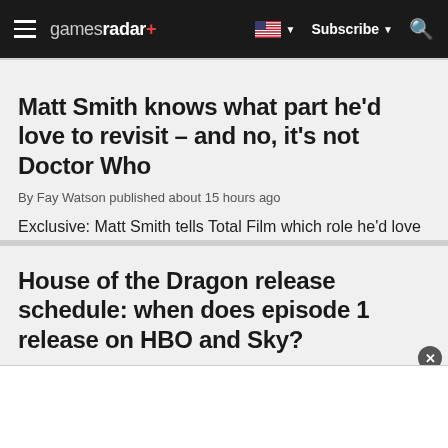gamesradar+ — Subscribe
Matt Smith knows what part he'd love to revisit – and no, it's not Doctor Who
By Fay Watson published about 15 hours ago
Exclusive: Matt Smith tells Total Film which role he'd love to get stuck back into
House of the Dragon release schedule: when does episode 1 release on HBO and Sky?
By Fay Watson published 1 day ago